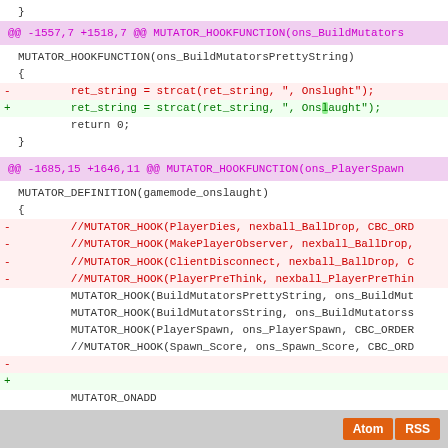}
@@ -1557,7 +1518,7 @@ MUTATOR_HOOKFUNCTION(ons_BuildMutators...
MUTATOR_HOOKFUNCTION(ons_BuildMutatorsPrettyString)
 {
-        ret_string = strcat(ret_string, ", Onslught");
+        ret_string = strcat(ret_string, ", Onslaught");
         return 0;
 }
@@ -1685,15 +1646,11 @@ MUTATOR_HOOKFUNCTION(ons_PlayerSpawn...
MUTATOR_DEFINITION(gamemode_onslaught)
 {
-        //MUTATOR_HOOK(PlayerDies, nexball_BallDrop, CBC_ORD...
-        //MUTATOR_HOOK(MakePlayerObserver, nexball_BallDrop,...
-        //MUTATOR_HOOK(ClientDisconnect, nexball_BallDrop, C...
-        //MUTATOR_HOOK(PlayerPreThink, nexball_PlayerPreThin...
         MUTATOR_HOOK(BuildMutatorsPrettyString, ons_BuildMut...
         MUTATOR_HOOK(BuildMutatorsString, ons_BuildMutators...
         MUTATOR_HOOK(PlayerSpawn, ons_PlayerSpawn, CBC_ORDER...
         //MUTATOR_HOOK(Spawn_Score, ons_Spawn_Score, CBC_ORD...
-
+
         MUTATOR_ONADD
         {
                 if(time > 1) // game loads at time 1